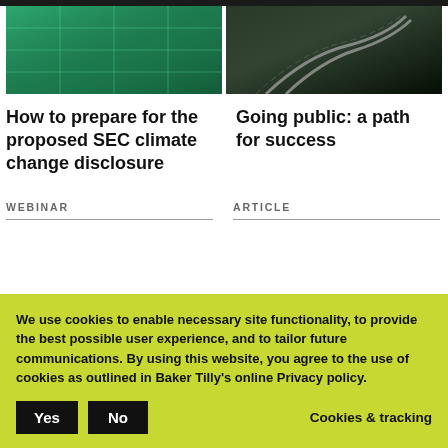[Figure (photo): Green glass building facade with grid pattern]
[Figure (photo): Dark winding road through forest at night]
How to prepare for the proposed SEC climate change disclosure
Going public: a path for success
WEBINAR
ARTICLE
We use cookies to enable necessary site functionality, to provide the best possible user experience, and to tailor future communications. By using this website, you agree to the use of cookies as outlined in Baker Tilly's online Privacy policy.
Yes
No
Cookies & tracking